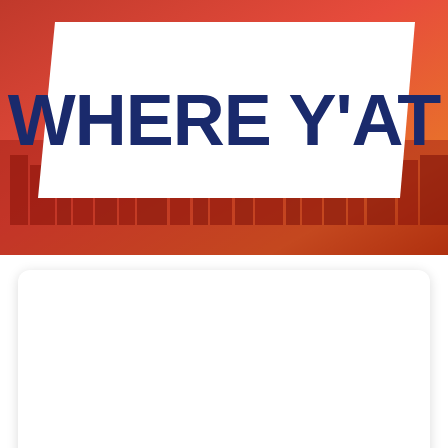[Figure (logo): WHERE Y'AT logo on white parallelogram background over a red/orange city skyline banner image]
[Figure (other): White rounded rectangle ad card area (empty/blank)]
Home > Articles > Business Profile > Dining
[Figure (other): Red circular hamburger menu button with three white horizontal lines]
[Figure (other): Blue footer bar with envelope/email icon on the left]